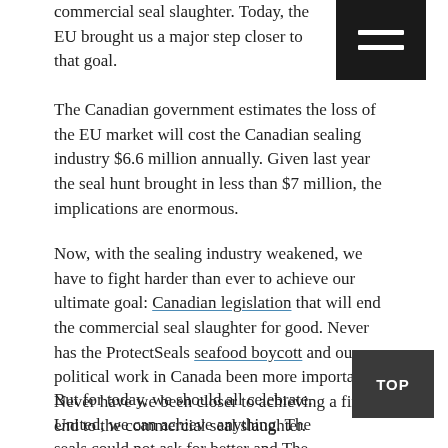commercial seal slaughter. Today, the EU brought us a major step closer to that goal.
The Canadian government estimates the loss of the EU market will cost the Canadian sealing industry $6.6 million annually. Given last year the seal hunt brought in less than $7 million, the implications are enormous.
Now, with the sealing industry weakened, we have to fight harder than ever to achieve our ultimate goal: Canadian legislation that will end the commercial seal slaughter for good. Never has the ProtectSeals seafood boycott and our political work in Canada been more important. Never have we been closer to achieving a final end to the commercial seal slaughter.
But for today, we should all celebrate. United, we can achieve anything. The seals could not ask for better and The HSUS could not ask for stronger supporters on behalf of the cause they and we will be so glad to see...